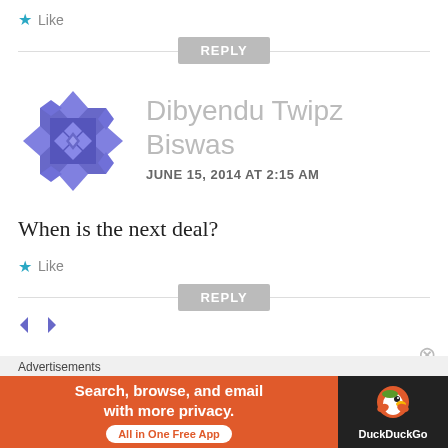★ Like
REPLY
Dibyendu Twipz Biswas
JUNE 15, 2014 AT 2:15 AM
When is the next deal?
★ Like
REPLY
[Figure (infographic): DuckDuckGo advertisement banner: orange background with text 'Search, browse, and email with more privacy. All in One Free App' and DuckDuckGo duck logo on dark background]
Advertisements